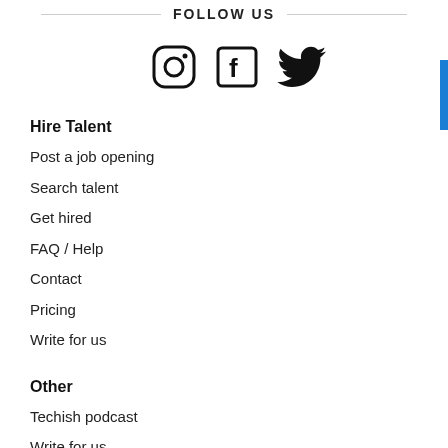FOLLOW US
[Figure (illustration): Three social media icons: Instagram (circle with camera outline), Facebook (square with F), Twitter (bird logo)]
Hire Talent
Post a job opening
Search talent
Get hired
FAQ / Help
Contact
Pricing
Write for us
Other
Techish podcast
Write for us